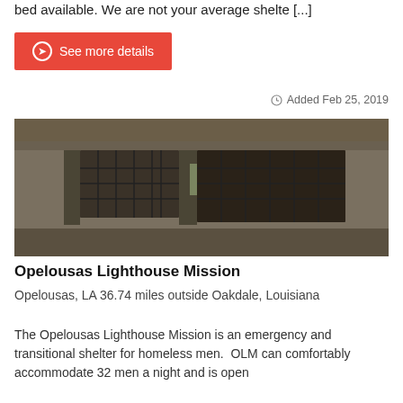bed available. We are not your average shelter [...]
See more details
Added Feb 25, 2019
[Figure (photo): Exterior photo of a low concrete building with large grid-pattern windows, dimly lit, appearing to be the Opelousas Lighthouse Mission building.]
Opelousas Lighthouse Mission
Opelousas, LA 36.74 miles outside Oakdale, Louisiana
The Opelousas Lighthouse Mission is an emergency and transitional shelter for homeless men.  OLM can comfortably accommodate 32 men a night and is open